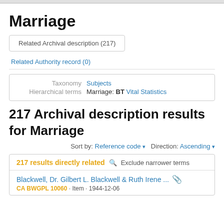Marriage
Related Archival description (217)
Related Authority record (0)
| Label | Value |
| --- | --- |
| Taxonomy | Subjects |
| Hierarchical terms | Marriage: BT Vital Statistics |
217 Archival description results for Marriage
Sort by: Reference code ▾   Direction: Ascending ▾
217 results directly related   🔍 Exclude narrower terms
Blackwell, Dr. Gilbert L. Blackwell & Ruth Irene ...  📎
CA BWGPL 10060 · Item · 1944-12-06